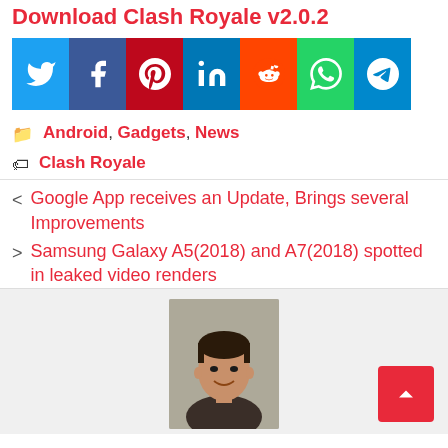Download Clash Royale v2.0.2
[Figure (infographic): Social sharing buttons row: Twitter (blue), Facebook (dark blue), Pinterest (red), LinkedIn (blue), Reddit (orange), WhatsApp (green), Telegram (light blue)]
Android, Gadgets, News
Clash Royale
Google App receives an Update, Brings several Improvements
Samsung Galaxy A5(2018) and A7(2018) spotted in leaked video renders
[Figure (photo): Author photo - young man, smiling, in a car]